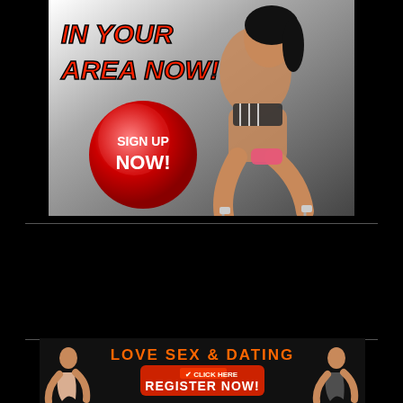[Figure (illustration): Dating site advertisement banner with text 'IN YOUR AREA NOW!' in red italic font, a red glossy button saying 'SIGN UP NOW!', and a woman posed in heels on a grey gradient background]
[Figure (illustration): Bottom banner ad: 'LOVE SEX & DATING' in orange text with two women posing at sides and a red 'CLICK HERE REGISTER NOW!' button in center]